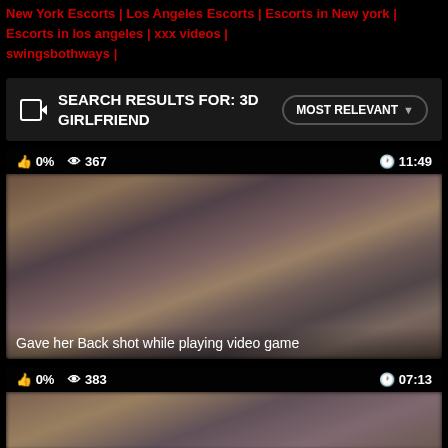New York Escorts | Los Angeles Escorts | Escorts in New york | Escorts in los angeles | xxx videos | swingsbothways |
SEARCH RESULTS FOR: 3D GIRLFRIEND
MOST RELEVANT
0%  367  11:49
[Figure (photo): Video thumbnail - blurry intimate image]
Gave her Back shot while playing video game
0%  383  07:13
[Figure (photo): Second video thumbnail - blurry image]